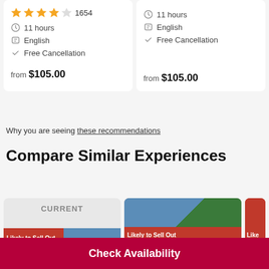★★★★☆ 1654
⏱ 11 hours
💬 English
✓ Free Cancellation
from $105.00
⏱ 11 hours
💬 English
✓ Free Cancellation
from $105.00
Why you are seeing these recommendations
Compare Similar Experiences
CURRENT
Likely to Sell Out
Likely to Sell Out
Like
Check Availability